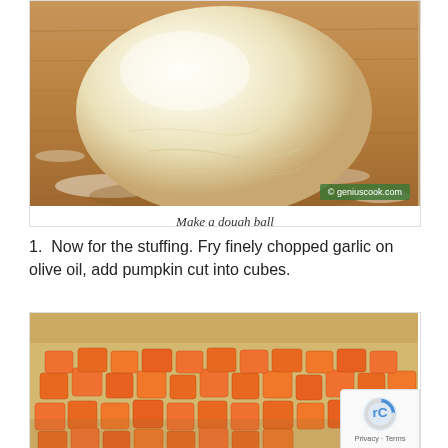[Figure (photo): A ball of dough resting on a floured wooden surface, with a watermark reading '© geniuscook.com' in the lower right corner of the photo.]
Make a dough ball
Now for the stuffing. Fry finely chopped garlic on olive oil, add pumpkin cut into cubes.
[Figure (photo): Orange pumpkin cubes being cooked or prepared, with a fork visible in the image pressing down on the pieces. A reCAPTCHA badge overlays the bottom-right corner showing 'Privacy · Terms'.]